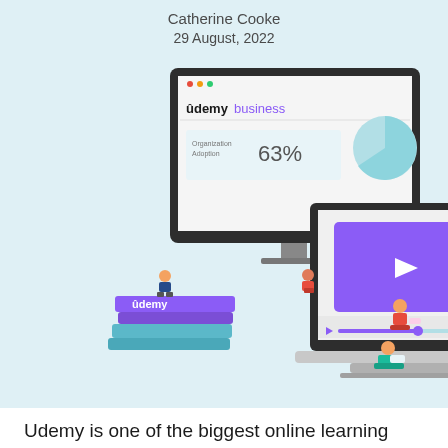Catherine Cooke
29 August, 2022
[Figure (illustration): Illustration of Udemy Business platform showing a desktop monitor displaying Udemy Business dashboard with 63% Organization Adoption and a pie chart, and a laptop with a video player showing a purple play button, with illustrated people studying around the devices and Udemy branded books/progress bars.]
Udemy is one of the biggest online learning